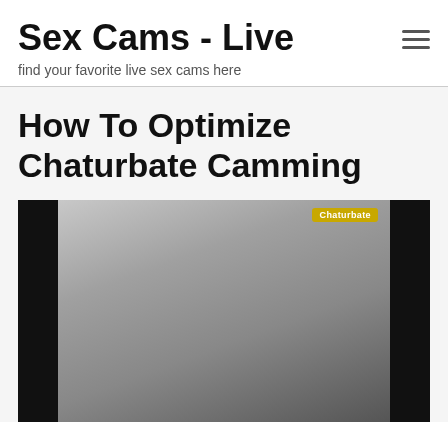Sex Cams - Live
find your favorite live sex cams here
How To Optimize Chaturbate Camming
[Figure (photo): A webcam screenshot from Chaturbate with a Chaturbate watermark in the upper right corner. Black bars on left and right sides of the image.]